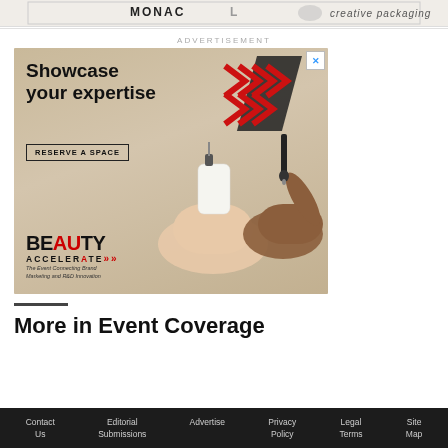[Figure (illustration): Top banner fragment showing partial text 'MONAC...' and 'creative packaging' on a light background]
ADVERTISEMENT
[Figure (photo): Beauty Accelerate advertisement: 'Showcase your expertise – RESERVE A SPACE' with hands holding cosmetic dropper bottles on a beige background. BEAUTY ACCELERATE logo bottom left with tagline 'The Event Connecting Brand Marketing and R&D Innovation'. Red chevron arrows top right. Close button top right corner.]
More in Event Coverage
Contact Us   Editorial Submissions   Advertise   Privacy Policy   Legal Terms   Site Map